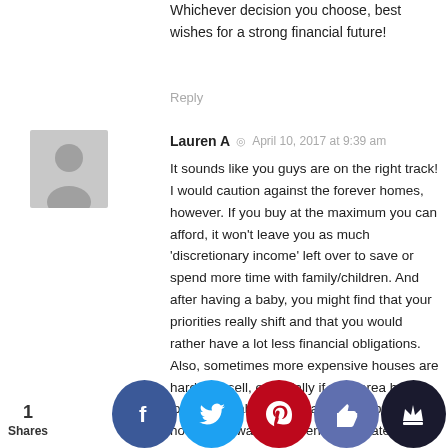Whichever decision you choose, best wishes for a strong financial future!
Reply
[Figure (illustration): Grey avatar silhouette of a person, placeholder user image]
Lauren A  ◎  April 10, 2017 at 9:39 am
It sounds like you guys are on the right track! I would caution against the forever homes, however. If you buy at the maximum you can afford, it won't leave you as much 'discretionary income' left over to save or spend more time with family/children. And after having a baby, you might find that your priorities really shift and that you would rather have a lot less financial obligations. Also, sometimes more expensive houses are harder to sell, especially if your area has a lot of affordable real estate. If you buy the house you want and then decide later you want to sell it, it could be more difficult to get the price you want for it especially if you have to put a lot of money in for a new roof – you might not get that back. And I feel personally, that economic times are increasingly uncertain and it's better to have cash in the bank and a modest mortgage p... If you childr... he hou...e in n no... works..., you ca... for som... g then.
1 Shares
[Figure (infographic): Social share buttons: Facebook (blue), Twitter (light blue), Pinterest (red), thumbs up (purple-blue), crown/VIP (dark navy)]